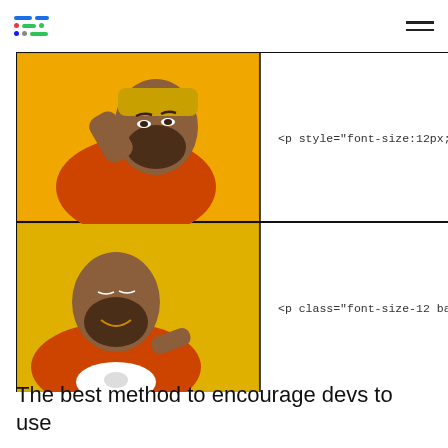[Figure (infographic): Drake meme showing disapproval (top panel) of inline style attribute with font-size and background color, and approval (bottom panel) of CSS class-based approach. Top right panel shows code: <p style="font-size:12px; background:#333. Bottom right panel shows code: <p class="font-size-12 background-gray ma]
The best method to encourage devs to use